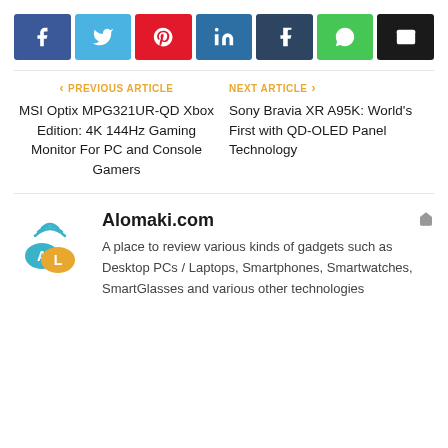[Figure (infographic): Row of 7 social sharing buttons: Facebook (blue), Twitter (light blue), Pinterest (red), LinkedIn (teal-blue), Tumblr (dark blue), WhatsApp (green), Email (black)]
PREVIOUS ARTICLE
MSI Optix MPG321UR-QD Xbox Edition: 4K 144Hz Gaming Monitor For PC and Console Gamers
NEXT ARTICLE
Sony Bravia XR A95K: World's First with QD-OLED Panel Technology
[Figure (logo): Alomaki.com logo: two speech bubbles with letters A and L, wifi icon above]
Alomaki.com
A place to review various kinds of gadgets such as Desktop PCs / Laptops, Smartphones, Smartwatches, SmartGlasses and various other technologies